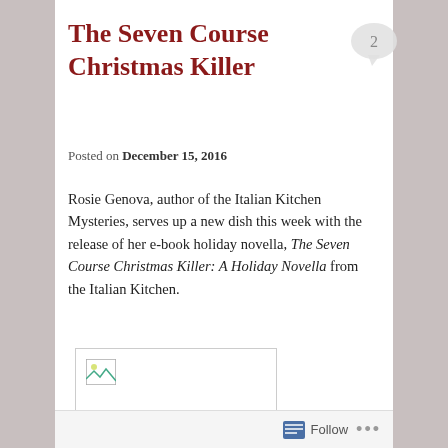The Seven Course Christmas Killer
Posted on December 15, 2016
Rosie Genova, author of the Italian Kitchen Mysteries, serves up a new dish this week with the release of her e-book holiday novella, The Seven Course Christmas Killer: A Holiday Novella from the Italian Kitchen.
[Figure (photo): Book cover image placeholder with broken image icon]
More about The Seven Course Christmas Killer:
Follow ...